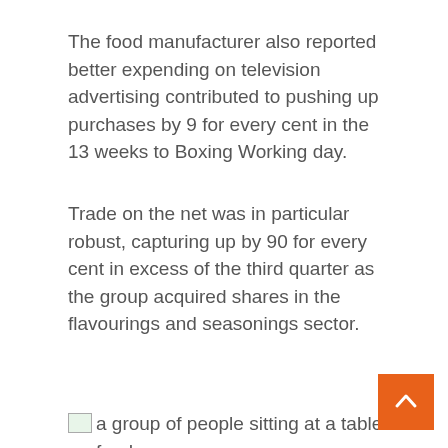The food manufacturer also reported better expending on television advertising contributed to pushing up purchases by 9 for every cent in the 13 weeks to Boxing Working day.
Trade on the net was in particular robust, capturing up by 90 for every cent in excess of the third quarter as the group acquired shares in the flavourings and seasonings sector.
[Figure (photo): Broken image placeholder with alt text: a group of people sitting at a table with food]
Premier Foods Alex Whitehouse: 'Looking to the remainder of the year, out-of-home eating is likely remain heavily restricted, and we therefore expect to see continued high levels of consumer demand for our